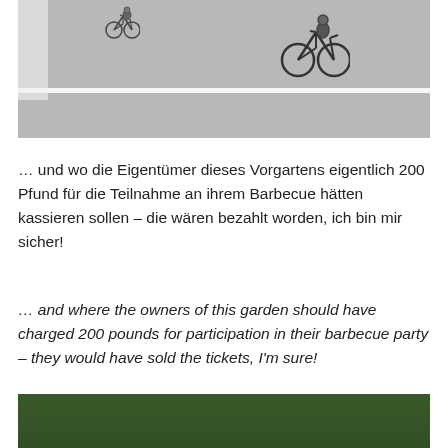[Figure (photo): Photo of a road with cyclists riding on it, a white road line visible, taken from the side. A white-clothed figure is partially visible on the left edge.]
… und wo die Eigentümer dieses Vorgartens eigentlich 200 Pfund für die Teilnahme an ihrem Barbecue hätten kassieren sollen – die wären bezahlt worden, ich bin mir sicher!
… and where the owners of this garden should have charged 200 pounds for participation in their barbecue party – they would have sold the tickets, I'm sure!
[Figure (photo): Photo of a garden barbecue party with yellow and black bunting banners, balloon cyclist decoration, trees in background, umbrella, and people visible.]